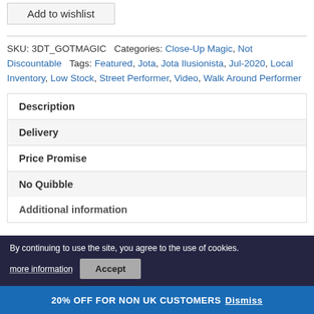Add to wishlist
SKU: 3DT_GOTMAGIC  Categories: Close-Up Magic, Not Discountable  Tags: Featured, Jota, Jota Ilusionista, Jul-2020, Local Inventory, Low Stock, Street Performer, Video, Walk Around Performer
Description
Delivery
Price Promise
No Quibble
Additional information
By continuing to use the site, you agree to the use of cookies.
more information
Accept
20% OFF FOR NON UK CUSTOMERS  Dismiss